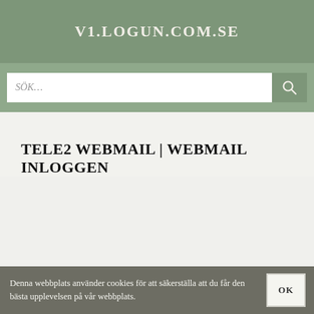V1.LOGUN.COM.SE
TELE2 WEBMAIL | WEBMAIL INLOGGEN
Denna webbplats använder cookies för att säkerställa att du får den bästa upplevelsen på vår webbplats.